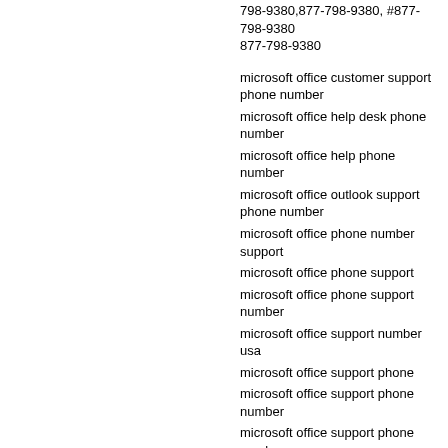798-9380,877-798-9380, #877-798-9380 877-798-9380
microsoft office customer support phone number
microsoft office help desk phone number
microsoft office help phone number
microsoft office outlook support phone number
microsoft office phone number support
microsoft office phone support
microsoft office phone support number
microsoft office support number usa
microsoft office support phone
microsoft office support phone number
microsoft office support phone number usa
microsoft office tech support
microsoft office tech support number
microsoft office tech support phone
microsoft office tech support phone number
microsoft office tech support phone numbers